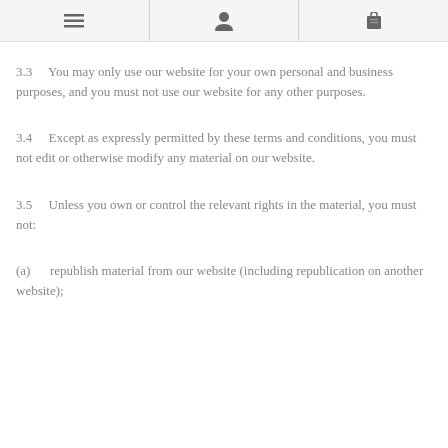[menu icon] [person icon] [bag icon]
3.3 You may only use our website for your own personal and business purposes, and you must not use our website for any other purposes.
3.4 Except as expressly permitted by these terms and conditions, you must not edit or otherwise modify any material on our website.
3.5 Unless you own or control the relevant rights in the material, you must not:
(a) republish material from our website (including republication on another website);